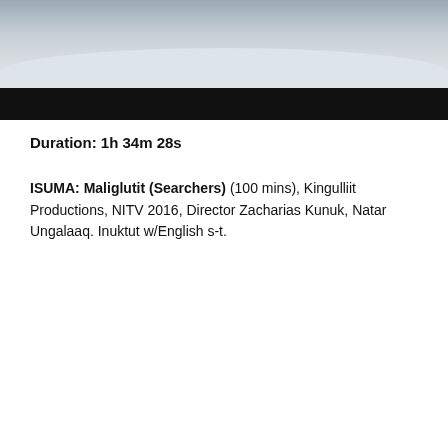[Figure (photo): Arctic/snowy scene with figures, dark black bar overlay at bottom of image]
Duration: 1h 34m 28s
ISUMA: Maliglutit (Searchers) (100 mins), Kingulliit Productions, NITV 2016, Director Zacharias Kunuk, Natar Ungalaaq. Inuktut w/English s-t.
21:34 Movie Night | Attagutaaluk (Starvation)
[Figure (photo): Elderly indigenous person in interior setting with wood paneling background, appearing to hold something]